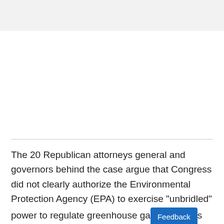The 20 Republican attorneys general and governors behind the case argue that Congress did not clearly authorize the Environmental Protection Agency (EPA) to exercise "unbridled" power to regulate greenhouse gases under the CAA.